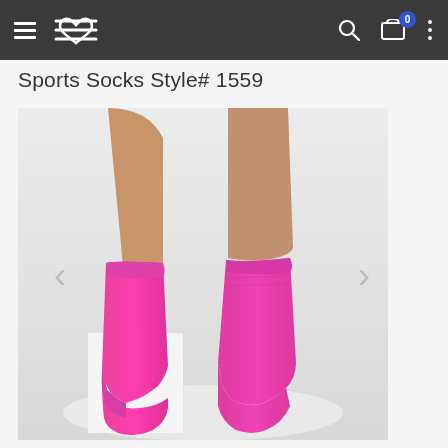Navigation bar with menu, logo, search, cart (0 items), and more options
Sports Socks Style# 1559
[Figure (photo): Pink knee-high sports compression socks worn on a person's legs, shown from behind/side view on a white background. The socks are bright neon/hot pink color, knee-high length with a ribbed cuff at the top.]